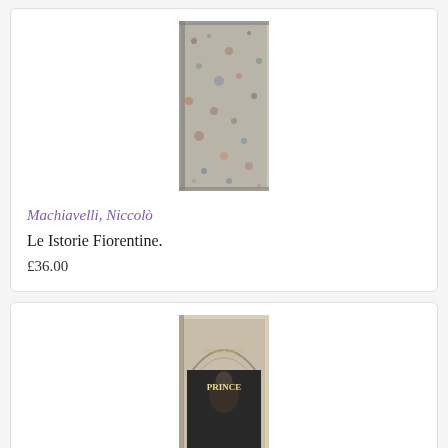[Figure (photo): Book cover of Le Istorie Fiorentine by Machiavelli – marbled/speckled spine visible]
Machiavelli, Niccolò
Le Istorie Fiorentine.
£36.00
[Figure (photo): Book cover of Publishing the Prince by Jacob Soll – shows the book spine/cover with decorative arch illustration and title text]
Soll, Jacob
Publishing the Prince: History, Reading, and the Birth of Political Criticism.